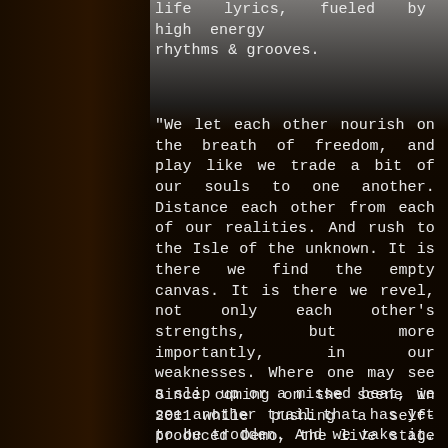life lyrics, fueled by high energy rhythms & grooves.
"We let each other nourish on the breath of freedom, and play like we trade a bit of our souls to one another. Distance each other from each of our realities. And rush to the Isle of the unknown. It is there we find the empty canvas. It is there we revel, not only each other's strengths, but more importantly, in our weaknesses. Where one may see a slip up or a missed beat, we see another trail that has yet to be trodden. And we take it. - Because in those imperfect moments...we have found perfection"
Since coming on the scene in 2011 while pushing a self-produced Demo, the live stage shows have proven to be a solid sound and an